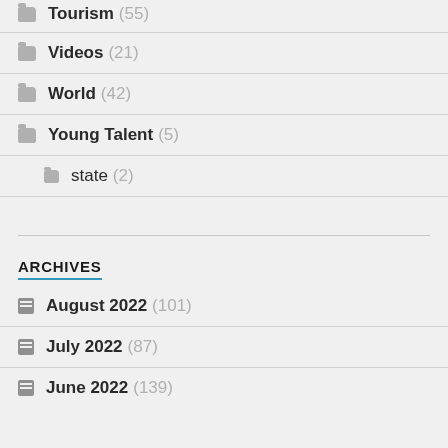Tourism (55)
Videos (21)
World (42)
Young Talent (5)
state (2)
ARCHIVES
August 2022 (101)
July 2022 (87)
June 2022 (139)